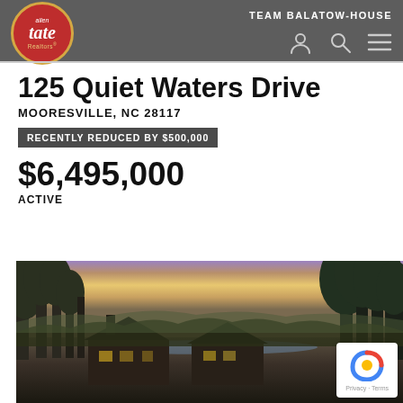TEAM BALATOW-HOUSE
125 Quiet Waters Drive
MOORESVILLE, NC 28117
RECENTLY REDUCED BY $500,000
$6,495,000
ACTIVE
[Figure (photo): Aerial/elevated view of a luxury lakefront home at dusk/sunset, with purple and golden sky, surrounded by trees, lake visible in background.]